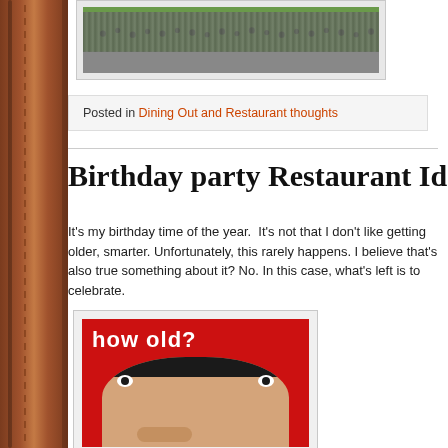[Figure (photo): Aerial or wide-angle photo of a large crowd on green grass, with a road visible]
Posted in Dining Out and Restaurant thoughts
Birthday party Restaurant Ideas
It’s my birthday time of the year.  It’s not that I don’t like getting older, smarter. Unfortunately, this rarely happens. I believe that’s also true something about it? No. In this case, what’s left is to celebrate.
[Figure (photo): Image of a person with wide eyes and hand near chin on red background with text 'how old?']